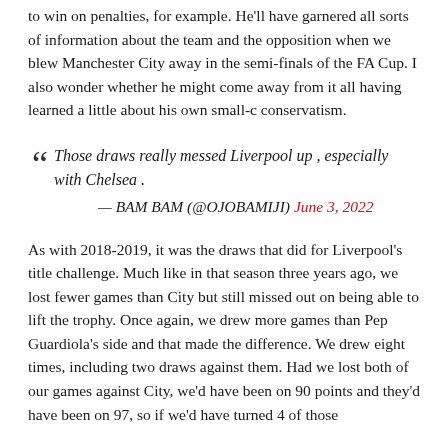to win on penalties, for example. He'll have garnered all sorts of information about the team and the opposition when we blew Manchester City away in the semi-finals of the FA Cup. I also wonder whether he might come away from it all having learned a little about his own small-c conservatism.
“ Those draws really messed Liverpool up, especially with Chelsea.
— BAM BAM (@OJOBAMIJI) June 3, 2022
As with 2018-2019, it was the draws that did for Liverpool's title challenge. Much like in that season three years ago, we lost fewer games than City but still missed out on being able to lift the trophy. Once again, we drew more games than Pep Guardiola's side and that made the difference. We drew eight times, including two draws against them. Had we lost both of our games against City, we'd have been on 90 points and they'd have been on 97, so if we'd have turned 4 of those